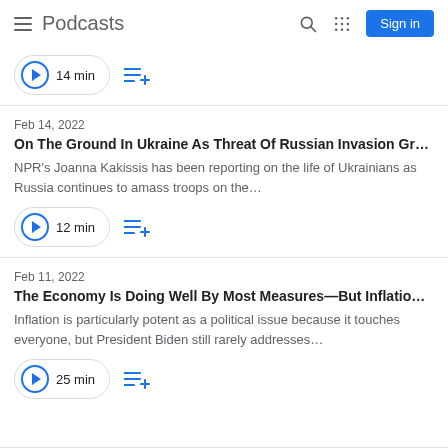Podcasts
14 min
Feb 14, 2022 | On The Ground In Ukraine As Threat Of Russian Invasion Gr... | NPR's Joanna Kakissis has been reporting on the life of Ukrainians as Russia continues to amass troops on the... | 12 min
Feb 11, 2022 | The Economy Is Doing Well By Most Measures—But Inflatio... | Inflation is particularly potent as a political issue because it touches everyone, but President Biden still rarely addresses... | 25 min